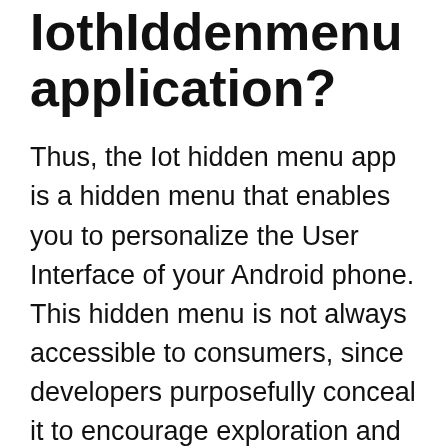IothIddenmenu application?
Thus, the Iot hidden menu app is a hidden menu that enables you to personalize the User Interface of your Android phone. This hidden menu is not always accessible to consumers, since developers purposefully conceal it to encourage exploration and discovery.
How am I to locate my secret menu?
Navigate to the dialer application on your